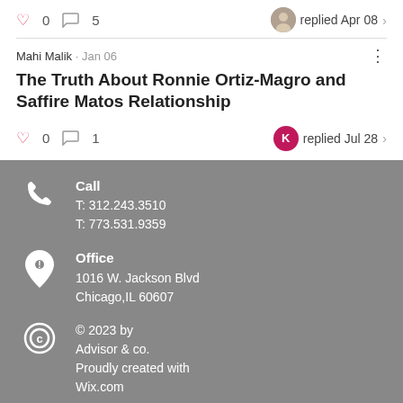♡ 0  ☐ 5   replied Apr 08 >
Mahi Malik · Jan 06
The Truth About Ronnie Ortiz-Magro and Saffire Matos Relationship
♡ 0  ☐ 1   K replied Jul 28 >
Call
T: 312.243.3510
T: 773.531.9359
Office
1016 W. Jackson Blvd
Chicago,IL 60607
© 2023 by
Advisor & co.
Proudly created with
Wix.com